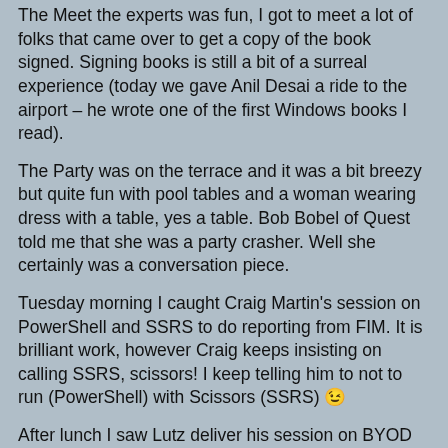The Meet the experts was fun, I got to meet a lot of folks that came over to get a copy of the book signed. Signing books is still a bit of a surreal experience (today we gave Anil Desai a ride to the airport – he wrote one of the first Windows books I read).
The Party was on the terrace and it was a bit breezy but quite fun with pool tables and a woman wearing dress with a table, yes a table. Bob Bobel of Quest told me that she was a party crasher. Well she certainly was a conversation piece.
Tuesday morning I caught Craig Martin's session on PowerShell and SSRS to do reporting from FIM. It is brilliant work, however Craig keeps insisting on calling SSRS, scissors! I keep telling him to not to run (PowerShell) with Scissors (SSRS) 😉
After lunch I saw Lutz deliver his session on BYOD and the cloud. Then we prepped for his Wed sessions.
Lutz attended several of the RMS related sessions and said they were very sparsely attended.
Tuesday night attended the presentation of a brief bit and the...